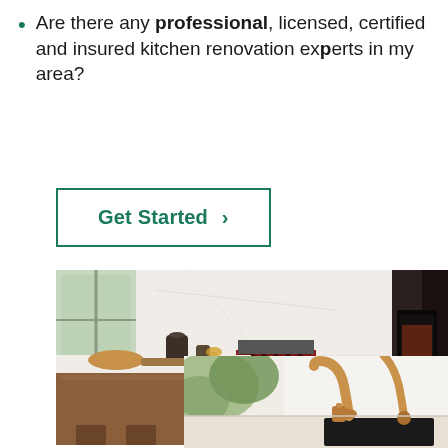Are there any professional, licensed, certified and insured kitchen renovation experts in my area?
Get Started >
[Figure (photo): Kitchen photo showing a wooden kitchen island with white quartz countertop, decorative bowls and vases, and a red professional range stove against white cabinetry. A partial dark kitchen image appears on the right edge.]
[Figure (photo): Close-up photo of a modern kitchen sink area with rose gold/brass faucet and fittings, with green plant leaves visible in the background.]